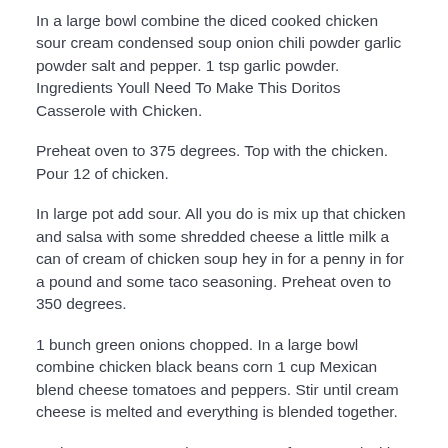In a large bowl combine the diced cooked chicken sour cream condensed soup onion chili powder garlic powder salt and pepper. 1 tsp garlic powder. Ingredients Youll Need To Make This Doritos Casserole with Chicken.
Preheat oven to 375 degrees. Top with the chicken. Pour 12 of chicken.
In large pot add sour. All you do is mix up that chicken and salsa with some shredded cheese a little milk a can of cream of chicken soup hey in for a penny in for a pound and some taco seasoning. Preheat oven to 350 degrees.
1 bunch green onions chopped. In a large bowl combine chicken black beans corn 1 cup Mexican blend cheese tomatoes and peppers. Stir until cream cheese is melted and everything is blended together.
Preheat oven to 350 degrees. Cater for a crowd with this easy hearty chicken casserole that evokes summer in provence using a fragrant selection of herbs tomatoes olives and. Begin by spreading the refried beans into the bottom of the casserole dish.